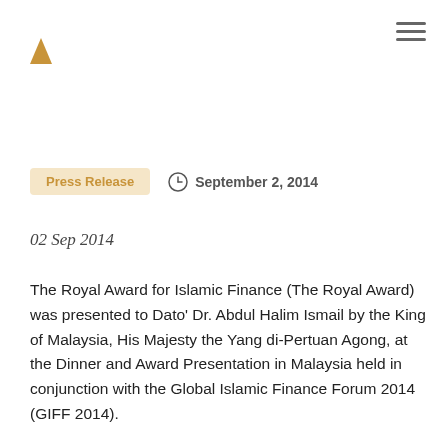[Figure (logo): Small gold upward-pointing triangle logo at top left]
Press Release   September 2, 2014
02 Sep 2014
The Royal Award for Islamic Finance (The Royal Award) was presented to Dato’ Dr. Abdul Halim Ismail by the King of Malaysia, His Majesty the Yang di-Pertuan Agong, at the Dinner and Award Presentation in Malaysia held in conjunction with the Global Islamic Finance Forum 2014 (GIFF 2014).